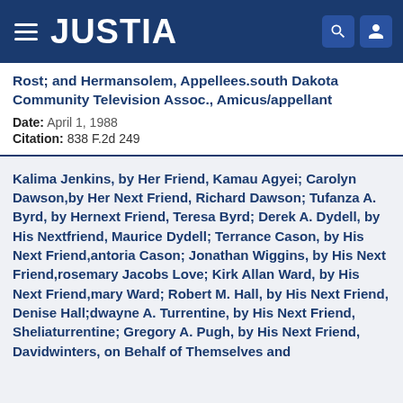JUSTIA
Rost; and Hermansolem, Appellees.south Dakota Community Television Assoc., Amicus/appellant
Date: April 1, 1988
Citation: 838 F.2d 249
Kalima Jenkins, by Her Friend, Kamau Agyei; Carolyn Dawson,by Her Next Friend, Richard Dawson; Tufanza A. Byrd, by Hernext Friend, Teresa Byrd; Derek A. Dydell, by His Nextfriend, Maurice Dydell; Terrance Cason, by His Next Friend,antoria Cason; Jonathan Wiggins, by His Next Friend,rosemary Jacobs Love; Kirk Allan Ward, by His Next Friend,mary Ward; Robert M. Hall, by His Next Friend, Denise Hall;dwayne A. Turrentine, by His Next Friend, Sheliaturrentine; Gregory A. Pugh, by His Next Friend, Davidwinters, on Behalf of Themselves and